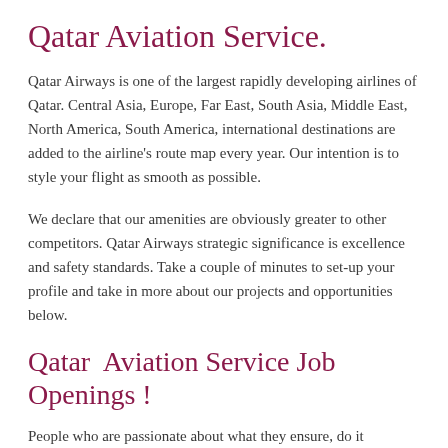Qatar Aviation Service.
Qatar Airways is one of the largest rapidly developing airlines of Qatar. Central Asia, Europe, Far East, South Asia, Middle East, North America, South America, international destinations are added to the airline's route map every year. Our intention is to style your flight as smooth as possible.
We declare that our amenities are obviously greater to other competitors. Qatar Airways strategic significance is excellence and safety standards. Take a couple of minutes to set-up your profile and take in more about our projects and opportunities below.
Qatar  Aviation Service Job Openings !
People who are passionate about what they ensure, do it generously and are content of the change it makes in the lives of others. We are looking for individuals these kind. Our success is determined by our